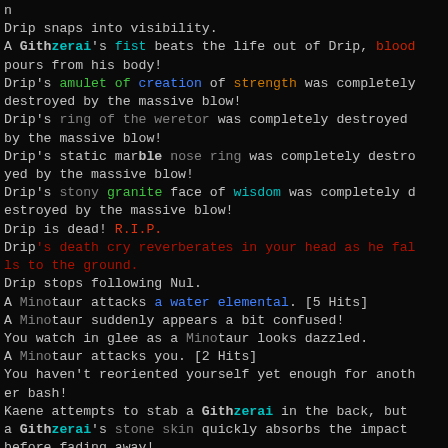n
Drip snaps into visibility.
A Githzerai's fist beats the life out of Drip, blood pours from his body!
Drip's amulet of creation of strength was completely destroyed by the massive blow!
Drip's ring of the weretor was completely destroyed by the massive blow!
Drip's static marble nose ring was completely destroyed by the massive blow!
Drip's stony granite face of wisdom was completely destroyed by the massive blow!
Drip is dead! R.I.P.
Drip's death cry reverberates in your head as he falls to the ground.
Drip stops following Nul.
A Minotaur attacks a water elemental. [5 Hits]
A Minotaur suddenly appears a bit confused!
You watch in glee as a Minotaur looks dazzled.
A Minotaur attacks you. [2 Hits]
You haven't reoriented yourself yet enough for another bash!
Kaene attempts to stab a Githzerai in the back, but a Githzerai's stone skin quickly absorbs the impact before fading away!